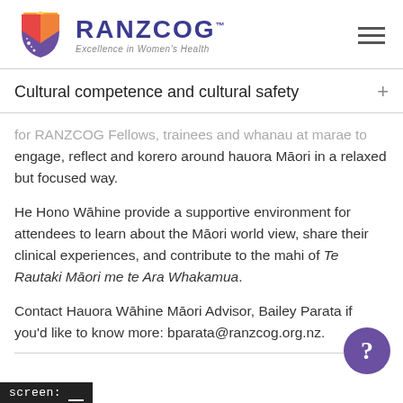[Figure (logo): RANZCOG logo with shield icon and tagline 'Excellence in Women's Health']
Cultural competence and cultural safety
for RANZCOG Fellows, trainees and whanau at marae to engage, reflect and korero around hauora Māori in a relaxed but focused way.
He Hono Wāhine provide a supportive environment for attendees to learn about the Māori world view, share their clinical experiences, and contribute to the mahi of Te Rautaki Māori me te Ara Whakamua.
Contact Hauora Wāhine Māori Advisor, Bailey Parata if you'd like to know more: bparata@ranzcog.org.nz.
screen: _